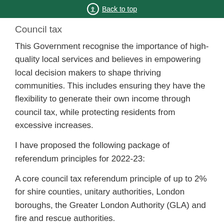Back to top
Council tax
This Government recognise the importance of high-quality local services and believes in empowering local decision makers to shape thriving communities. This includes ensuring they have the flexibility to generate their own income through council tax, while protecting residents from excessive increases.
I have proposed the following package of referendum principles for 2022-23:
A core council tax referendum principle of up to 2% for shire counties, unitary authorities, London boroughs, the Greater London Authority (GLA) and fire and rescue authorities.